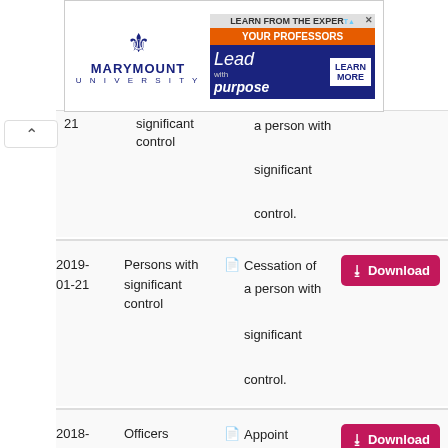[Figure (other): Marymount University advertisement banner with fleur-de-lis logo and 'Lead with purpose / Learn More' promotional text]
| Date | Type |  | Description | Action |
| --- | --- | --- | --- | --- |
| 21 [partial] | significant control [partial] |  | a person with significant control. |  |
| 2019-01-21 | Persons with significant control |  | Cessation of a person with significant control. | Download |
| 2018-12-19 | Officers |  | Appoint person | Download |